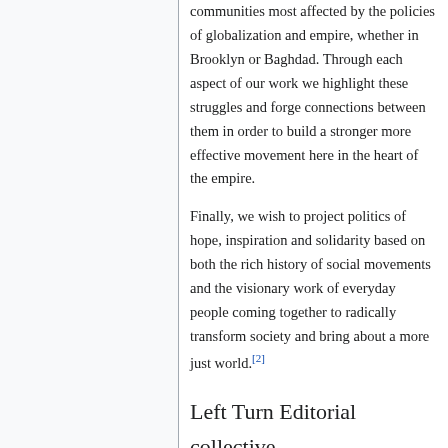communities most affected by the policies of globalization and empire, whether in Brooklyn or Baghdad. Through each aspect of our work we highlight these struggles and forge connections between them in order to build a stronger more effective movement here in the heart of the empire.
Finally, we wish to project politics of hope, inspiration and solidarity based on both the rich history of social movements and the visionary work of everyday people coming together to radically transform society and bring about a more just world.[2]
Left Turn Editorial collective
As of February 2017;[3]